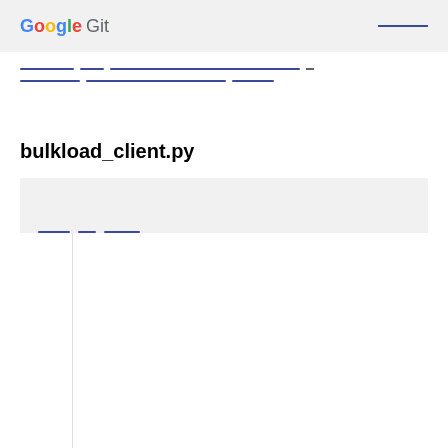Google Git
[breadcrumb navigation links]
bulkload_client.py
[Figure (screenshot): Toolbar area with file action links on a light gray background]
[Figure (screenshot): Code viewer area with line numbers column and code content area]